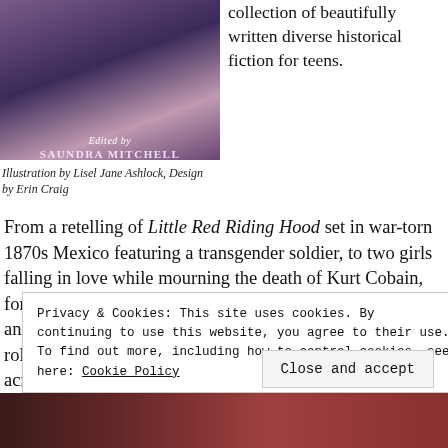[Figure (illustration): Book cover for 'All Out' edited by Saundra Mitchell, featuring illustrated hands and antlers on a dark purple/blue background with title text.]
Illustration by Lisel Jane Ashlock, Design by Erin Craig
collection of beautifully written diverse historical fiction for teens.
From a retelling of Little Red Riding Hood set in war-torn 1870s Mexico featuring a transgender soldier, to two girls falling in love while mourning the death of Kurt Cobain, forbidden love in a sixteenth-century Spanish convent or an asexual girl discovering her identity amid the 1970s roller-disco scene, All Out tells a diverse range of stories across cultures, time periods and identities, shedding light on an area of history often ignored or forgotten.
Privacy & Cookies: This site uses cookies. By continuing to use this website, you agree to their use.
To find out more, including how to control cookies, see here: Cookie Policy
Close and accept